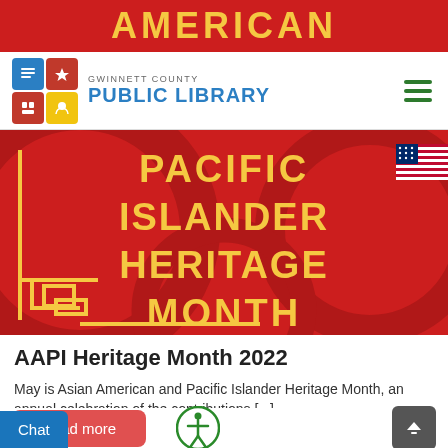[Figure (screenshot): Gwinnett County Public Library website screenshot showing AAPI Heritage Month 2022 page. Top red banner with 'AMERICAN' text, navigation bar with library logo, hero image with red background and gold text reading 'PACIFIC ISLANDER HERITAGE MONTH', US flag icon overlay, article title 'AAPI Heritage Month 2022', article excerpt, Read more button, accessibility icon, scroll-to-top button, and Chat button.]
GWINNETT COUNTY PUBLIC LIBRARY
AAPI Heritage Month 2022
May is Asian American and Pacific Islander Heritage Month, an annual celebration of the contributions [...]